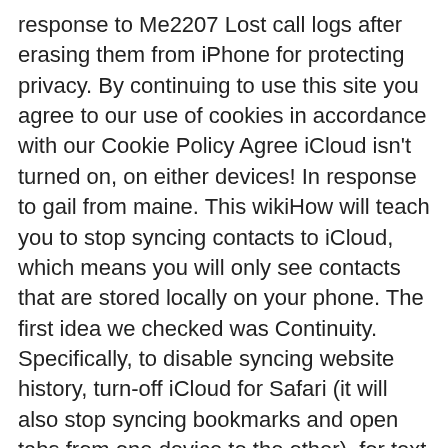response to Me2207 Lost call logs after erasing them from iPhone for protecting privacy. By continuing to use this site you agree to our use of cookies in accordance with our Cookie Policy Agree iCloud isn't turned on, on either devices! In response to gail from maine. This wikiHow will teach you to stop syncing contacts to iCloud, which means you will only see contacts that are stored locally on your phone. The first idea we checked was Continuity. Specifically, to disable syncing website history, turn-off iCloud for Safari (it will also stop syncing bookmarks and open tabs from one device to the other), for text messages, turn off iCloud for Messages. JavaScript is disabled. iPhone call logging is a built-in feature of all iPhones, and you can do it in multiple ways, such as from iCloud or the device itself. Lost call history after factory reset, iOS upgrade, jailbreaking failure. His calls show up on my phone and mine show up on his! https://blog.elcomsoft.com/2016/11/iphone-user-